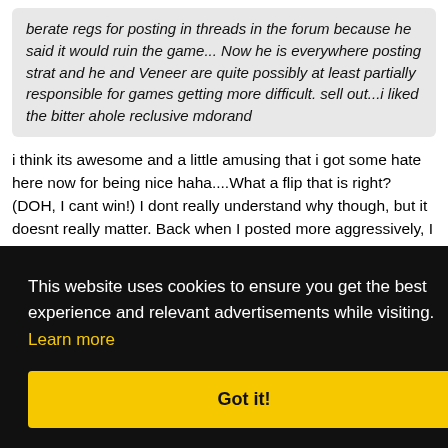berate regs for posting in threads in the forum because he said it would ruin the game... Now he is everywhere posting strat and he and Veneer are quite possibly at least partially responsible for games getting more difficult. sell out...i liked the bitter ahole reclusive mdorand
i think its awesome and a little amusing that i got some hate here now for being nice haha....What a flip that is right? (DOH, I cant win!) I dont really understand why though, but it doesnt really matter. Back when I posted more aggressively, I still never had a problem with responding in threads with strat, I just didnt feel the need to expand on my thought process, or stats etc, because well, thats info
This website uses cookies to ensure you get the best experience and relevant advertisements while visiting. Learn more
Got it!
Blaming any specific players for the games getting tougher